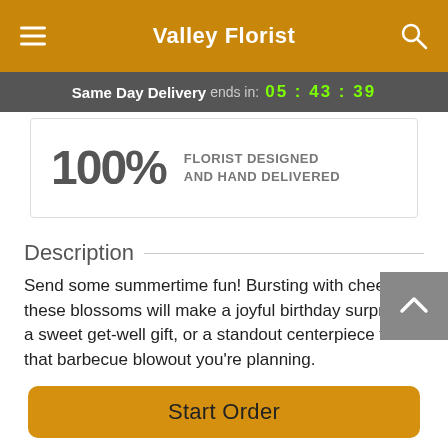Valley Florist
Same Day Delivery ends in: 05 : 43 : 39
100% FLORIST DESIGNED AND HAND DELIVERED
Description
Send some summertime fun! Bursting with cheer, these blossoms will make a joyful birthday surprise, a sweet get-well gift, or a standout centerpiece for that barbecue blowout you’re planning.
Bright yellow tulips and Gerbera daisies are arranged with
Start Order